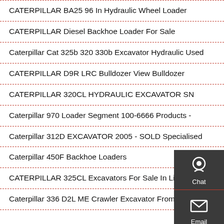CATERPILLAR BA25 96 In Hydraulic Wheel Loader
CATERPILLAR Diesel Backhoe Loader For Sale
Caterpillar Cat 325b 320 330b Excavator Hydraulic Used
CATERPILLAR D9R LRC Bulldozer View Bulldozer
CATERPILLAR 320CL HYDRAULIC EXCAVATOR SN
Caterpillar 970 Loader Segment 100-6666 Products -
Caterpillar 312D EXCAVATOR 2005 - SOLD Specialised
Caterpillar 450F Backhoe Loaders
CATERPILLAR 325CL Excavators For Sale In Livonia
Caterpillar 336 D2L ME Crawler Excavator From Belgium